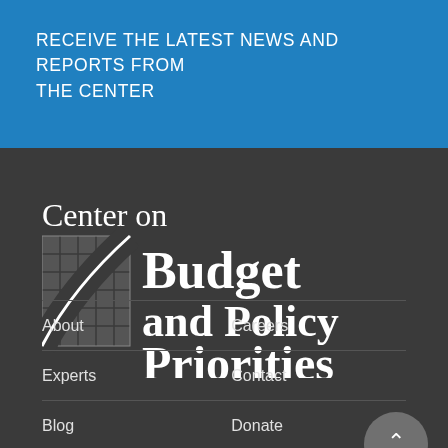RECEIVE THE LATEST NEWS AND REPORTS FROM THE CENTER
[Figure (logo): Center on Budget and Policy Priorities logo — white text and grid/arc graphic on dark background]
About
Careers
Experts
Contact
Blog
Donate